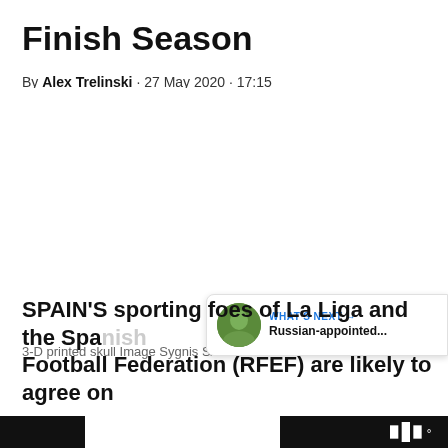Finish Season
By Alex Trelinski · 27 May 2020 · 17:15
3-D printed skull Image Sygnis SA SWNS
SPAIN'S sporting foes of La Liga and the Spanish Football Federation (RFEF) are likely to agree on